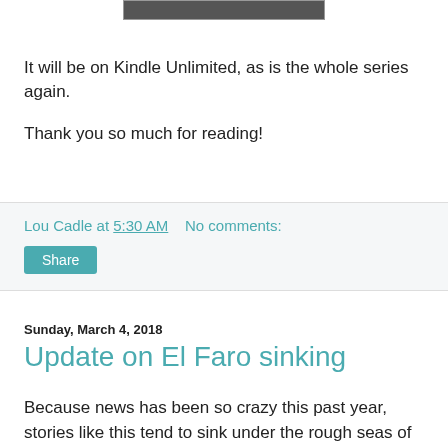[Figure (photo): Partial image visible at top of page, cropped]
It will be on Kindle Unlimited, as is the whole series again.
Thank you so much for reading!
Lou Cadle at 5:30 AM    No comments:
Share
Sunday, March 4, 2018
Update on El Faro sinking
Because news has been so crazy this past year, stories like this tend to sink under the rough seas of the news cycle. But I posted about it when it happened, wondering why they'd kept steering into the hurricane, and here's the NTSB press